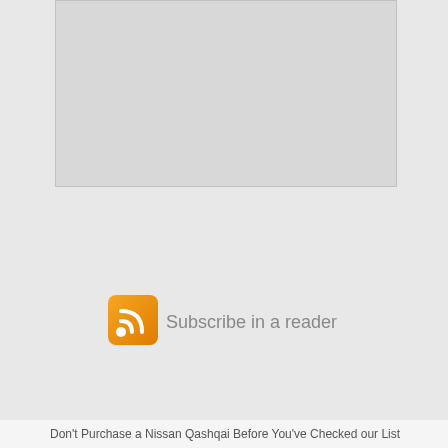[Figure (other): Gray placeholder image box]
[Figure (logo): RSS feed orange square icon with white RSS signal symbol]
Subscribe in a reader
This website uses cookies to ensure you get the best experience on our website.
Learn more
Got it!
e You
dly
asket
Don't Purchase a Nissan Qashqai Before You've Checked our List